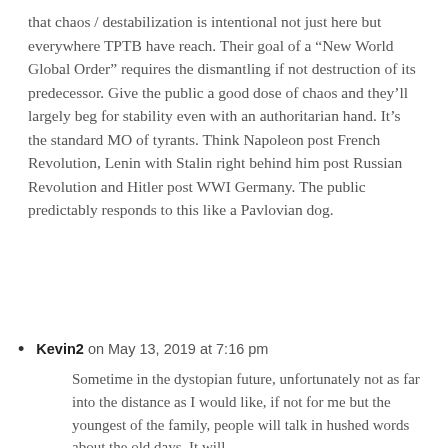that chaos / destabilization is intentional not just here but everywhere TPTB have reach. Their goal of a “New World Global Order” requires the dismantling if not destruction of its predecessor. Give the public a good dose of chaos and they’ll largely beg for stability even with an authoritarian hand. It’s the standard MO of tyrants. Think Napoleon post French Revolution, Lenin with Stalin right behind him post Russian Revolution and Hitler post WWI Germany. The public predictably responds to this like a Pavlovian dog.
Kevin2 on May 13, 2019 at 7:16 pm
Sometime in the dystopian future, unfortunately not as far into the distance as I would like, if not for me but the youngest of the family, people will talk in hushed words about the old days. It will